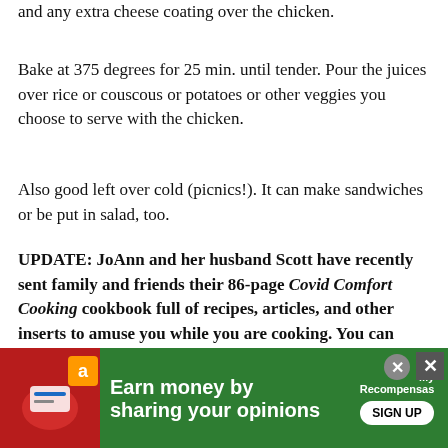and any extra cheese coating over the chicken.
Bake at 375 degrees for 25 min. until tender. Pour the juices over rice or couscous or potatoes or other veggies you choose to serve with the chicken.
Also good left over cold (picnics!). It can make sandwiches or be put in salad, too.
UPDATE: JoAnn and her husband Scott have recently sent family and friends their 86-page Covid Comfort Cooking cookbook full of recipes, articles, and other inserts to amuse you while you are cooking. You can read it in full here.
3.
[Figure (other): Green advertisement banner: 'Earn money by sharing your opinions' with Amazon icon, MyRecompensas logo, and SIGN UP button. Has close buttons (circle X and square X).]